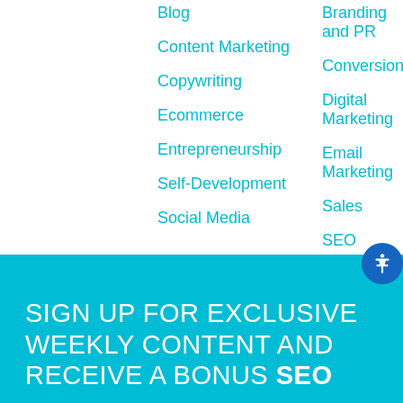Blog
Branding and PR
Content Marketing
Conversion
Copywriting
Digital Marketing
Ecommerce
Email Marketing
Entrepreneurship
Sales
Self-Development
SEO
Social Media
SIGN UP FOR EXCLUSIVE WEEKLY CONTENT AND RECEIVE A BONUS SEO